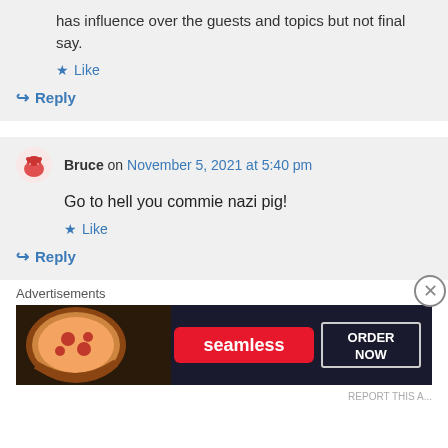has influence over the guests and topics but not final say.
Like
Reply
Bruce on November 5, 2021 at 5:40 pm
Go to hell you commie nazi pig!
Like
Reply
Advertisements
[Figure (screenshot): Seamless food delivery advertisement banner with pizza image, red Seamless logo button, and ORDER NOW button on dark background]